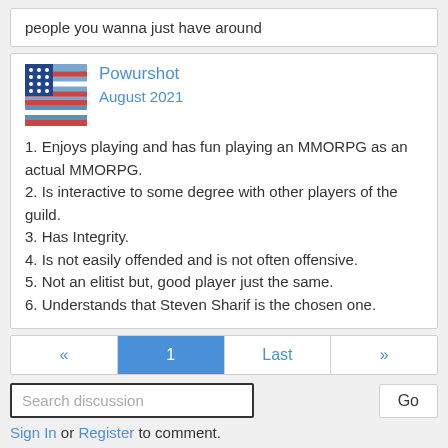people you wanna just have around
Powurshot
August 2021
1. Enjoys playing and has fun playing an MMORPG as an actual MMORPG.
2. Is interactive to some degree with other players of the guild.
3. Has Integrity.
4. Is not easily offended and is not often offensive.
5. Not an elitist but, good player just the same.
6. Understands that Steven Sharif is the chosen one.
« 1 Last »
Search discussion
Go
Sign In or Register to comment.